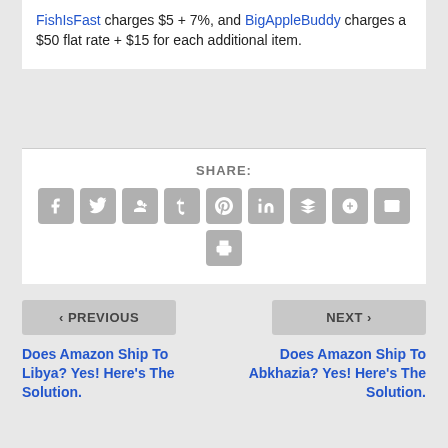FishIsFast charges $5 + 7%, and BigAppleBuddy charges a $50 flat rate + $15 for each additional item.
SHARE:
[Figure (other): Social share buttons: Facebook, Twitter, Google+, Tumblr, Pinterest, LinkedIn, Buffer, StumbleUpon, Email, Print]
< PREVIOUS
NEXT >
Does Amazon Ship To Libya? Yes! Here's The Solution.
Does Amazon Ship To Abkhazia? Yes! Here's The Solution.